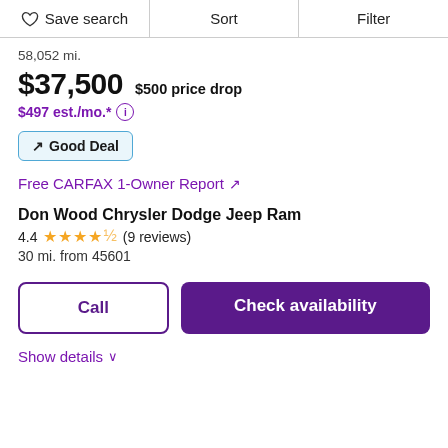Save search | Sort | Filter
58,052 mi.
$37,500  $500 price drop
$497 est./mo.*
Good Deal
Free CARFAX 1-Owner Report ↗
Don Wood Chrysler Dodge Jeep Ram
4.4 ★★★★½ (9 reviews)
30 mi. from 45601
Call
Check availability
Show details